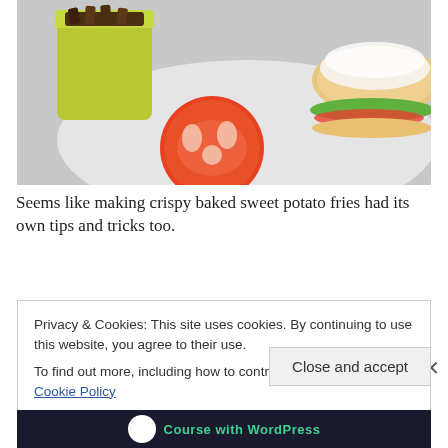[Figure (photo): Food photo showing a white plate with a yellow-green cup containing crispy baked sweet potato fries, a halved tomato, and a burger with lettuce, tomato and cream/mayo topping on a bun]
Seems like making crispy baked sweet potato fries had its own tips and tricks too.
Privacy & Cookies: This site uses cookies. By continuing to use this website, you agree to their use.
To find out more, including how to control cookies, see here: Cookie Policy
Close and accept
Course with WordPress